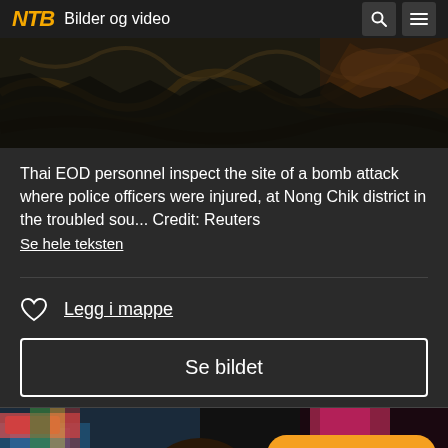NTB Bilder og video
[Figure (photo): Dark image of forest debris, ground cover with twigs and vegetation - crime/bomb scene investigation site]
Thai EOD personnel inspect the site of a bomb attack where police officers were injured, at Nong Chik district in the troubled sou... Credit: Reuters
Se hele teksten
Legg i mappe
Se bildet
[Figure (photo): Partial view of people - bottom portion of page showing another news image]